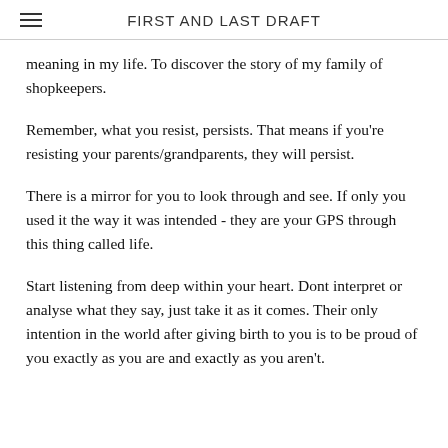FIRST AND LAST DRAFT
meaning in my life. To discover the story of my family of shopkeepers.
Remember, what you resist, persists. That means if you're resisting your parents/grandparents, they will persist.
There is a mirror for you to look through and see. If only you used it the way it was intended - they are your GPS through this thing called life.
Start listening from deep within your heart. Dont interpret or analyse what they say, just take it as it comes. Their only intention in the world after giving birth to you is to be proud of you exactly as you are and exactly as you aren't.